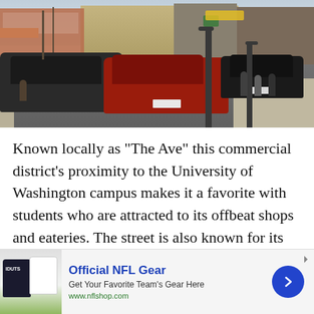[Figure (photo): Street scene on The Ave (University Way NE) in Seattle near the University of Washington campus, showing cars parked and driving on the street, storefronts on both sides, streetlamps, pedestrians on the sidewalk, and commercial buildings in the background.]
Known locally as “The Ave” this commercial district’s proximity to the University of Washington campus makes it a favorite with students who are attracted to its offbeat shops and eateries. The street is also known for its counterculture, and has a significant youth homeless population
[Figure (infographic): Advertisement banner: Official NFL Gear - Get Your Favorite Team's Gear Here - www.nflshop.com - with NFL jersey image on the left and a blue circular arrow button on the right.]